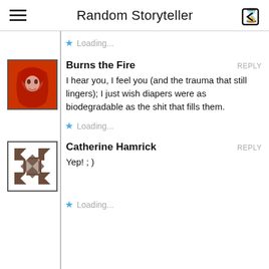Random Storyteller
Loading...
Burns the Fire — REPLY
I hear you, I feel you (and the trauma that still lingers); I just wish diapers were as biodegradable as the shit that fills them.
Loading...
Catherine Hamrick — REPLY
Yep! ; )
Loading...